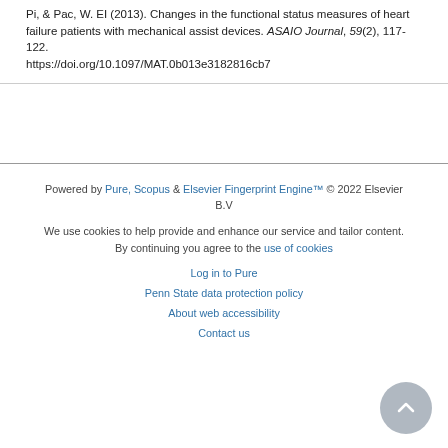Pi, & Pac, W. EI (2013). Changes in the functional status measures of heart failure patients with mechanical assist devices. ASAIO Journal, 59(2), 117-122. https://doi.org/10.1097/MAT.0b013e3182816cb7
Powered by Pure, Scopus & Elsevier Fingerprint Engine™ © 2022 Elsevier B.V
We use cookies to help provide and enhance our service and tailor content. By continuing you agree to the use of cookies
Log in to Pure
Penn State data protection policy
About web accessibility
Contact us